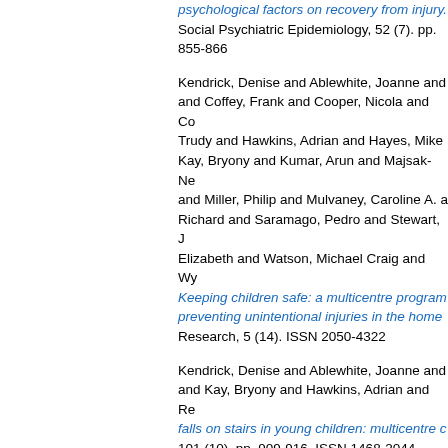psychological factors on recovery from injury. Social Psychiatry and Psychiatric Epidemiology, 52 (7). pp. 855-866.
Kendrick, Denise and Ablewhite, Joanne and ... and Coffey, Frank and Cooper, Nicola and Co... Trudy and Hawkins, Adrian and Hayes, Mike ... Kay, Bryony and Kumar, Arun and Majsak-Ne... and Miller, Philip and Mulvaney, Caroline A. a... Richard and Saramago, Pedro and Stewart, J... Elizabeth and Watson, Michael Craig and Wy... Keeping children safe: a multicentre program... preventing unintentional injuries in the home. ... Research, 5 (14). ISSN 2050-4322
Kendrick, Denise and Ablewhite, Joanne and... and Kay, Bryony and Hawkins, Adrian and Re... falls on stairs in young children: multicentre c... 101 (10). pp. 909-916. ISSN 1468-2044
Kendrick, Denise and Baker, Ruth and Hill, T... Kellezi, Blerina and Joseph, Stephen and Ba... Morriss, Richard (2018) Early risk factors for... hospital admission for unintentional injury: m... Research, 112 . pp. 15-24. ISSN 1879-1360
Kendrick, Denise and Dhiman, Paula and Ke... Jessica and Beckett, Kate and Christie, Nicol... Stephen and Morriss, Richard (2017) Psycho... multicentre cohort study. British Journal of G...